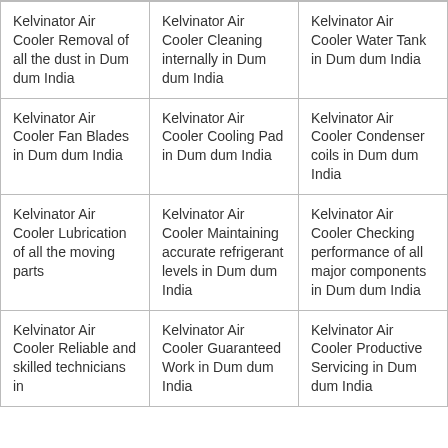| Kelvinator Air Cooler Removal of all the dust in Dum dum India | Kelvinator Air Cooler Cleaning internally in Dum dum India | Kelvinator Air Cooler Water Tank in Dum dum India |
| Kelvinator Air Cooler Fan Blades in Dum dum India | Kelvinator Air Cooler Cooling Pad in Dum dum India | Kelvinator Air Cooler Condenser coils in Dum dum India |
| Kelvinator Air Cooler Lubrication of all the moving parts | Kelvinator Air Cooler Maintaining accurate refrigerant levels in Dum dum India | Kelvinator Air Cooler Checking performance of all major components in Dum dum India |
| Kelvinator Air Cooler Reliable and skilled technicians in | Kelvinator Air Cooler Guaranteed Work in Dum dum India | Kelvinator Air Cooler Productive Servicing in Dum dum India |